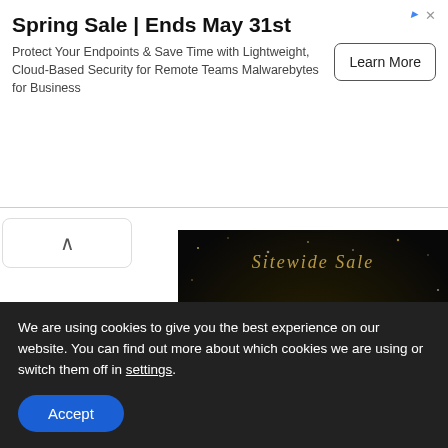[Figure (screenshot): Ad banner: Spring Sale | Ends May 31st - Malwarebytes for Business with Learn More button]
[Figure (screenshot): Sale promotional banner on black background: Sitewide Sale 15% OFF USE CODE: PARTYSALE SHOP NOW button]
Parasites in Black and White
We are using cookies to give you the best experience on our website. You can find out more about which cookies we are using or switch them off in settings.